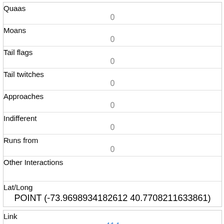| Quaas | 0 |
| Moans | 0 |
| Tail flags | 0 |
| Tail twitches | 0 |
| Approaches | 0 |
| Indifferent | 0 |
| Runs from | 0 |
| Other Interactions |  |
| Lat/Long | POINT (-73.9698934182612 40.7708211633861) |
| Link | 414 |